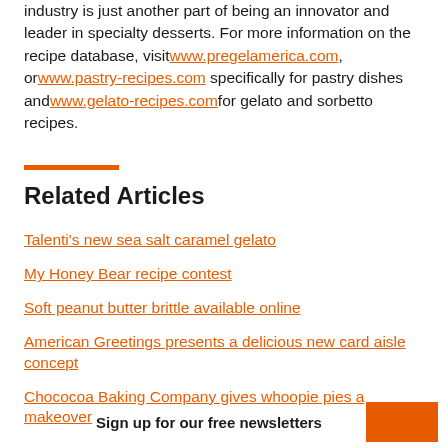industry is just another part of being an innovator and leader in specialty desserts. For more information on the recipe database, visit www.pregelamerica.com, or www.pastry-recipes.com specifically for pastry dishes and www.gelato-recipes.com for gelato and sorbetto recipes.
Related Articles
Talenti's new sea salt caramel gelato
My Honey Bear recipe contest
Soft peanut butter brittle available online
American Greetings presents a delicious new card aisle concept
Chococoa Baking Company gives whoopie pies a makeover
Sign up for our free newsletters